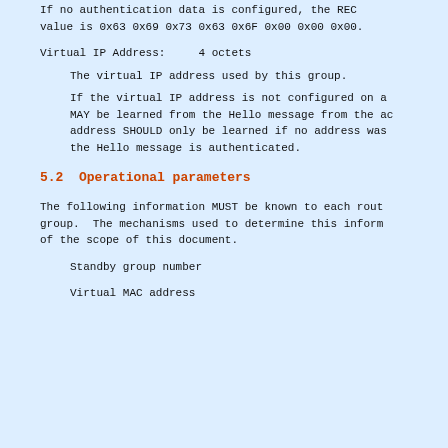If no authentication data is configured, the REC value is 0x63 0x69 0x73 0x63 0x6F 0x00 0x00 0x00.
Virtual IP Address:    4 octets
The virtual IP address used by this group.
If the virtual IP address is not configured on a MAY be learned from the Hello message from the ac address SHOULD only be learned if no address was the Hello message is authenticated.
5.2  Operational parameters
The following information MUST be known to each rout group.  The mechanisms used to determine this inform of the scope of this document.
Standby group number
Virtual MAC address